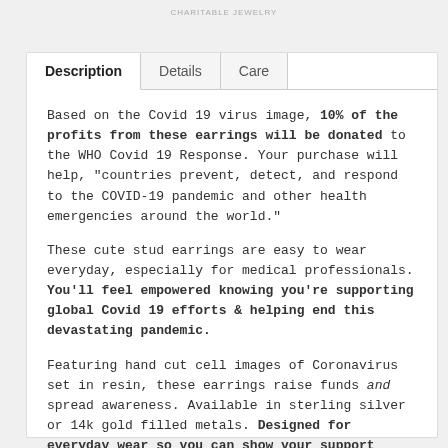CHARITABLE JEWELRY
Based on the Covid 19 virus image, 10% of the profits from these earrings will be donated to the WHO Covid 19 Response. Your purchase will help, "countries prevent, detect, and respond to the COVID-19 pandemic and other health emergencies around the world."
These cute stud earrings are easy to wear everyday, especially for medical professionals. You'll feel empowered knowing you're supporting global Covid 19 efforts & helping end this devastating pandemic.
Featuring hand cut cell images of Coronavirus set in resin, these earrings raise funds and spread awareness. Available in sterling silver or 14k gold filled metals. Designed for everyday wear so you can show your support everywhere you go.